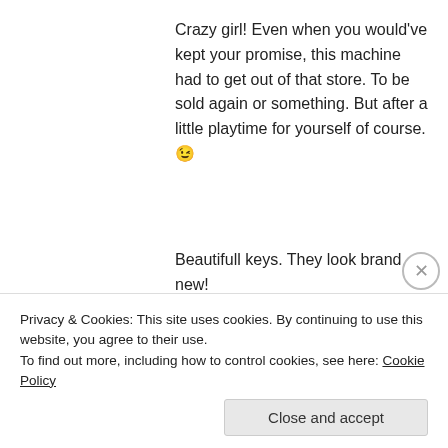Crazy girl! Even when you would've kept your promise, this machine had to get out of that store. To be sold again or something. But after a little playtime for yourself of course. 😉
Beautifull keys. They look brand new!
★ Like
Reply
Scott K
November 14, 2014 at 1:22 am
Privacy & Cookies: This site uses cookies. By continuing to use this website, you agree to their use.
To find out more, including how to control cookies, see here: Cookie Policy
Close and accept